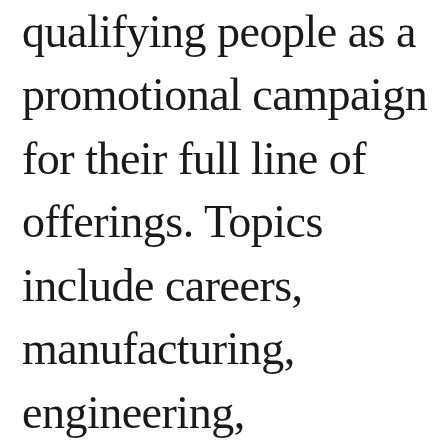qualifying people as a promotional campaign for their full line of offerings. Topics include careers, manufacturing, engineering, management,